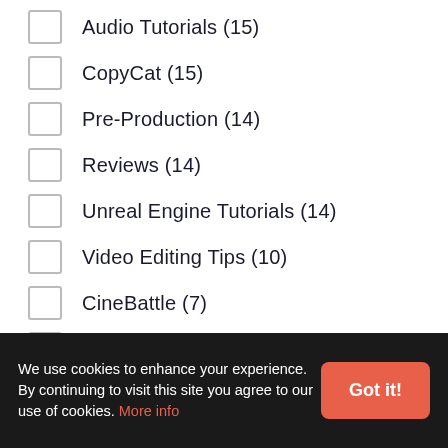Audio Tutorials (15)
CopyCat (15)
Pre-Production (14)
Reviews (14)
Unreal Engine Tutorials (14)
Video Editing Tips (10)
CineBattle (7)
Gear (5)
Video Business (3)
Entertainment (3)
Photoshop Tutorials (2)
We use cookies to enhance your experience. By continuing to visit this site you agree to our use of cookies. More info